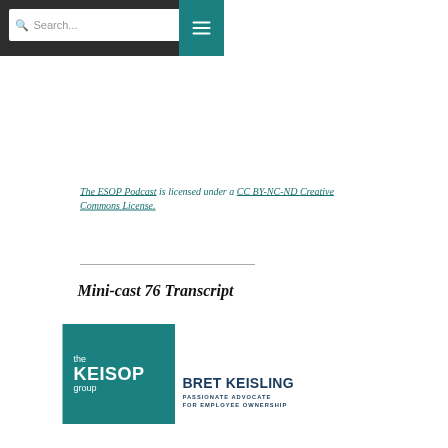Search...
The ESOP Podcast is licensed under a CC BY-NC-ND Creative Commons License.
Mini-cast 76 Transcript
[Figure (logo): The KEISOP group logo — teal background with white text reading 'the KEISOP group']
[Figure (logo): Bret Keisling — Passionate Advocate For Employee Ownership wordmark in dark navy]